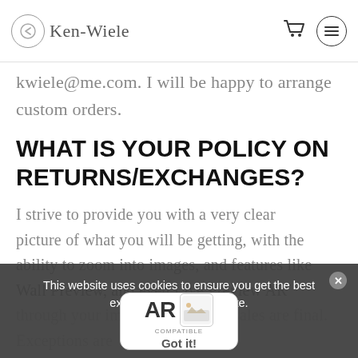Ken-Wiele
kwiele@me.com.  I will be happy to arrange custom orders.
WHAT IS YOUR POLICY ON RETURNS/EXCHANGES?
I strive to provide you with a very clear picture of what you will be getting, with the ability to zoom into images, and features like Wall Preview, and even Live Preview AR through your image ... insist that sales are final. Exceptions are made of course ... age during
This website uses cookies to ensure you get the best experience on our website.
[Figure (logo): AR Compatible badge with Got it! button]